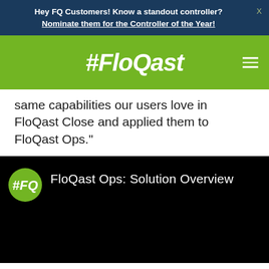Hey FQ Customers! Know a standout controller? Nominate them for the Controller of the Year!
[Figure (logo): FloQast logo on green navigation bar with hamburger menu icon]
same capabilities our users love in FloQast Close and applied them to FloQast Ops."
[Figure (screenshot): FloQast Ops: Solution Overview video thumbnail with #FQ logo on black background]